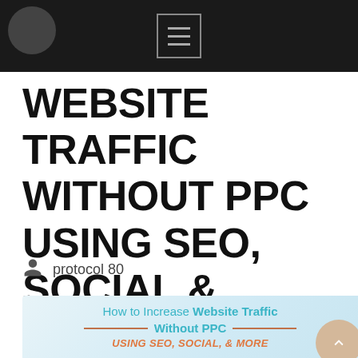Navigation bar with hamburger menu icon
WEBSITE TRAFFIC WITHOUT PPC USING SEO, SOCIAL & MORE
protocol 80
[Figure (infographic): Infographic header reading 'How to Increase Website Traffic Without PPC USING SEO, SOCIAL, & MORE' with decorative orange divider lines and a scroll-to-top button]